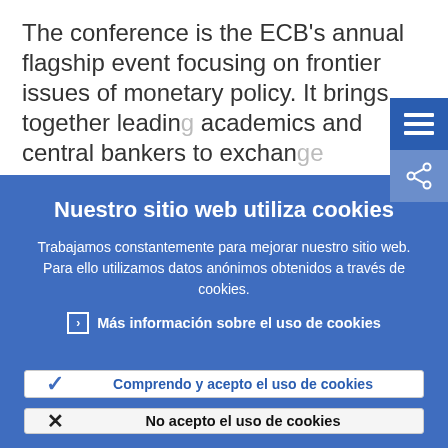The conference is the ECB's annual flagship event focusing on frontier issues of monetary policy. It brings together leading academics and central bankers to exchange ideas and share research findings on frontier...
Nuestro sitio web utiliza cookies
Trabajamos constantemente para mejorar nuestro sitio web. Para ello utilizamos datos anónimos obtenidos a través de cookies.
Más información sobre el uso de cookies
Comprendo y acepto el uso de cookies
No acepto el uso de cookies